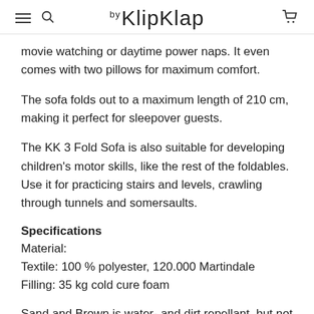by KlipKlap
movie watching or daytime power naps. It even comes with two pillows for maximum comfort.
The sofa folds out to a maximum length of 210 cm, making it perfect for sleepover guests.
The KK 3 Fold Sofa is also suitable for developing children's motor skills, like the rest of the foldables. Use it for practicing stairs and levels, crawling through tunnels and somersaults.
Specifications
Material:
Textile: 100 % polyester, 120.000 Martindale
Filling: 35 kg cold cure foam
Sand and Brown is water- and dirt repellant, but not waterproof.